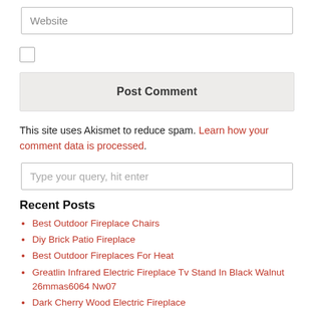Website
[Figure (other): Checkbox (unchecked)]
Post Comment
This site uses Akismet to reduce spam. Learn how your comment data is processed.
Type your query, hit enter
Recent Posts
Best Outdoor Fireplace Chairs
Diy Brick Patio Fireplace
Best Outdoor Fireplaces For Heat
Greatlin Infrared Electric Fireplace Tv Stand In Black Walnut 26mmas6064 Nw07
Dark Cherry Wood Electric Fireplace
Dark Cherry Wood Fireplace Tv Stand
Most Energy Efficient Fireplace Insert
Energy Efficient Gas Fireplace Insert
Best Energy Efficient Wood Fireplaces